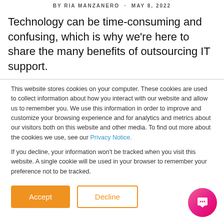BY RIA MANZANERO · MAY 8, 2022
Technology can be time-consuming and confusing, which is why we're here to share the many benefits of outsourcing IT support.
This website stores cookies on your computer. These cookies are used to collect information about how you interact with our website and allow us to remember you. We use this information in order to improve and customize your browsing experience and for analytics and metrics about our visitors both on this website and other media. To find out more about the cookies we use, see our Privacy Notice.

If you decline, your information won't be tracked when you visit this website. A single cookie will be used in your browser to remember your preference not to be tracked.
[Figure (other): Accept and Decline cookie consent buttons, plus a pink chat bubble widget in the bottom-right corner]